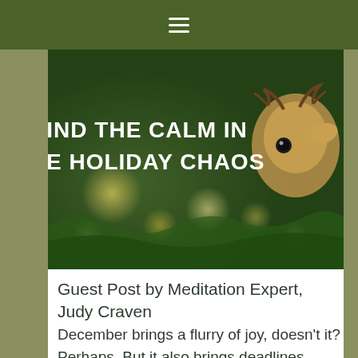≡
[Figure (photo): Holiday themed image with text overlay reading 'FIND THE CALM IN THE HOLIDAY CHAOS' over a bokeh background with Christmas lights and a reindeer ornament]
Guest Post by Meditation Expert, Judy Craven
December brings a flurry of joy, doesn't it? Perhaps. But it also brings deadlines, meetings, parties, weather, kids, family… a whirl of activity, or a slow in activity... both can